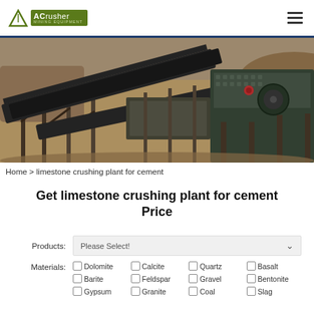[Figure (logo): ACrusher Mining Equipment logo with green background and triangle icon]
[Figure (photo): Industrial limestone crushing plant machinery showing conveyor belts, screens, and crushers at a quarry site]
Home > limestone crushing plant for cement
Get limestone crushing plant for cement Price
Products: Please Select! (dropdown)
Materials: Dolomite, Calcite, Quartz, Basalt, Barite, Feldspar, Gravel, Bentonite, Gypsum, Granite, Coal, Slag